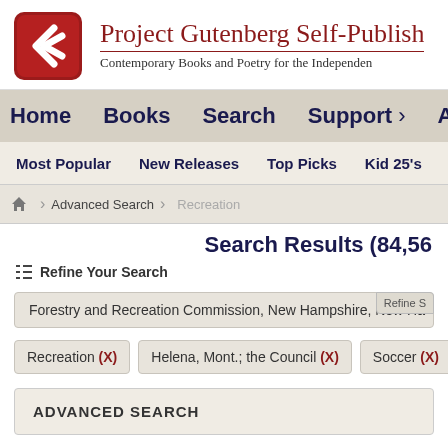[Figure (logo): Project Gutenberg Self-Publishing logo — red rounded square with white G lettermark]
Project Gutenberg Self-Publish
Contemporary Books and Poetry for the Independen
Home  Books  Search  Support ›  About U
Most Popular  New Releases  Top Picks  Kid 25's
Advanced Search  Recreation
Search Results (84,56
Refine Your Search
Forestry and Recreation Commission, New Hampshire, New Ha
Recreation (X)
Helena, Mont.; the Council (X)
Soccer (X)
ADVANCED SEARCH